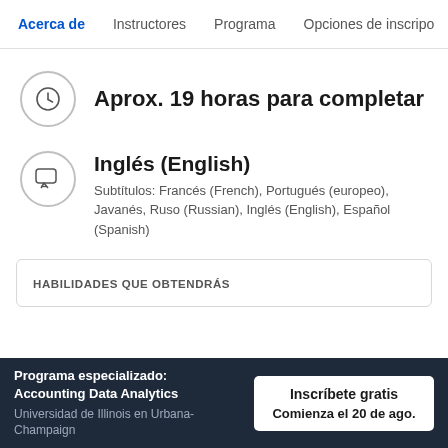Acerca de   Instructores   Programa   Opciones de inscripci…
Aprox. 19 horas para completar
Inglés (English)
Subtítulos: Francés (French), Portugués (europeo), Javanés, Ruso (Russian), Inglés (English), Español (Spanish)
HABILIDADES QUE OBTENDRÁS
Programa especializado: Accounting Data Analytics
Universidad de Illinois en Urbana-Champaign
Inscríbete gratis
Comienza el 20 de ago.